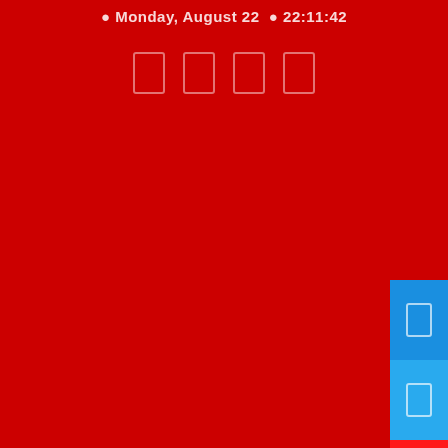Monday, August 22  22:11:42
[Figure (screenshot): Mobile/app UI screen with dark red background. Status bar shows Monday August 22 and time 22:11:42. Below are four small icon boxes in a row. On the right side are four colored buttons (blue, lighter blue, red, slate blue) stacked vertically, each containing a small rectangle icon.]